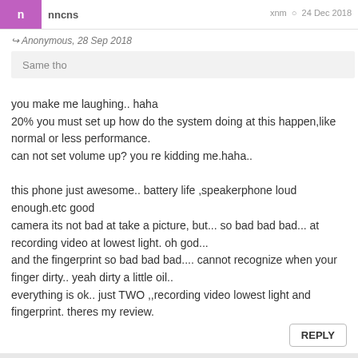n · xnm · 24 Dec 2018
Anonymous, 28 Sep 2018
Same tho
you make me laughing.. haha
20% you must set up how do the system doing at this happen,like normal or less performance.
can not set volume up? you re kidding me.haha..

this phone just awesome.. battery life ,speakerphone loud enough.etc good
camera its not bad at take a picture, but... so bad bad bad... at recording video at lowest light. oh god...
and the fingerprint so bad bad bad.... cannot recognize when your finger dirty.. yeah dirty a little oil..
everything is ok.. just TWO ,,recording video lowest light and fingerprint. theres my review.
REPLY